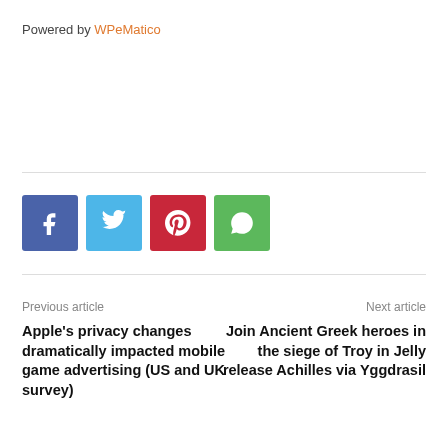Powered by WPeMatico
[Figure (other): Social share buttons: Facebook (blue), Twitter (light blue), Pinterest (red), WhatsApp (green)]
Previous article
Next article
Apple's privacy changes dramatically impacted mobile game advertising (US and UK survey)
Join Ancient Greek heroes in the siege of Troy in Jelly release Achilles via Yggdrasil